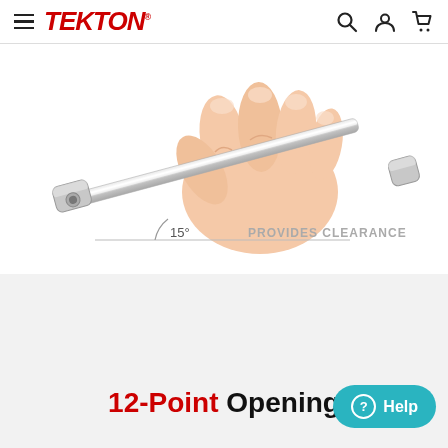TEKTON (navigation header with hamburger menu, search, user, and cart icons)
[Figure (photo): A hand gripping a long chrome wrench/ratchet at a 15-degree angle. Annotation reads '15°' with a line showing the offset angle and text 'PROVIDES CLEARANCE' to the right.]
12-Point Opening